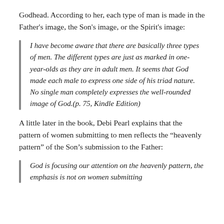Godhead. According to her, each type of man is made in the Father's image, the Son's image, or the Spirit's image:
I have become aware that there are basically three types of men. The different types are just as marked in one-year-olds as they are in adult men. It seems that God made each male to express one side of his triad nature. No single man completely expresses the well-rounded image of God.(p. 75, Kindle Edition)
A little later in the book, Debi Pearl explains that the pattern of women submitting to men reflects the “heavenly pattern” of the Son’s submission to the Father:
God is focusing our attention on the heavenly pattern, the emphasis is not on women submitting